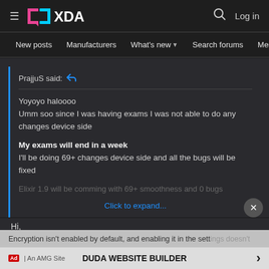XDA — New posts | Manufacturers | What's new | Search forums | Members
PrajjuS said:
Yoyoyo haloooo
Umm soo since I was having exams I was not able to do any changes device side

My exams will end in a week
I'll be doing 69+ changes device side and all the bugs will be fixed

Elixir 1.9 will be comming with 69+ smoothness and 0 bugs
Click to expand...
Hi,
Encryption isn't enabled by default, and enabling it in the settings doesn't work for dit...
Phone reboots, flashes multiple times, and finally starts with no encryption.
DUDA WEBSITE BUILDER